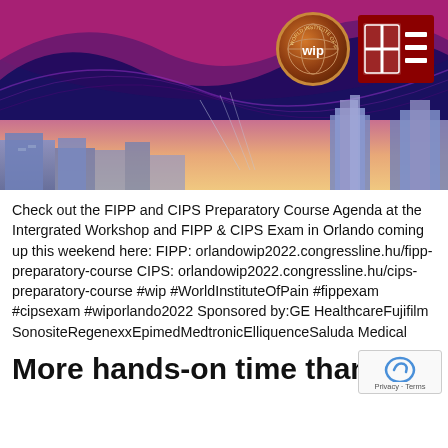[Figure (photo): Conference banner with dark purple/navy gradient background, colorful wave design in pink and purple, cityscape skyline silhouette at bottom, WIP (World Institute of Pain) circular logo and Texas Tech University Health Center square logo in top right]
Check out the FIPP and CIPS Preparatory Course Agenda at the Intergrated Workshop and FIPP & CIPS Exam in Orlando coming up this weekend here: FIPP: orlandowip2022.congressline.hu/fipp-preparatory-course CIPS: orlandowip2022.congressline.hu/cips-preparatory-course #wip #WorldInstituteOfPain #fippexam #cipsexam #wiporlando2022 Sponsored by:GE HealthcareFujifilm SonositeRegenexxEpimedMedtronicElliquenceSaluda Medical
More hands-on time than